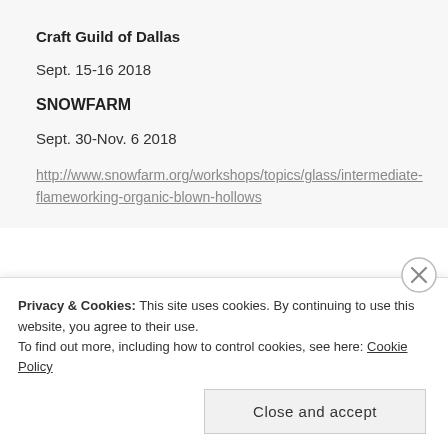Craft Guild of Dallas
Sept. 15-16 2018
SNOWFARM
Sept. 30-Nov. 6 2018
http://www.snowfarm.org/workshops/topics/glass/intermediate-flameworking-organic-blown-hollows
Privacy & Cookies: This site uses cookies. By continuing to use this website, you agree to their use.
To find out more, including how to control cookies, see here: Cookie Policy
Close and accept